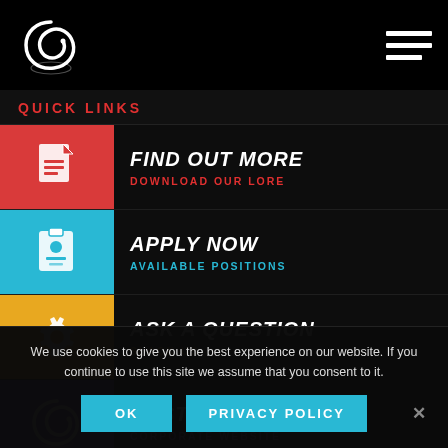Logo and navigation header
QUICK LINKS
FIND OUT MORE — DOWNLOAD OUR LORE
APPLY NOW — AVAILABLE POSITIONS
ASK A QUESTION — SLACK US
CUSTOMER? — CORPORATE WEBSITE
We use cookies to give you the best experience on our website. If you continue to use this site we assume that you consent to it.
OK | PRIVACY POLICY